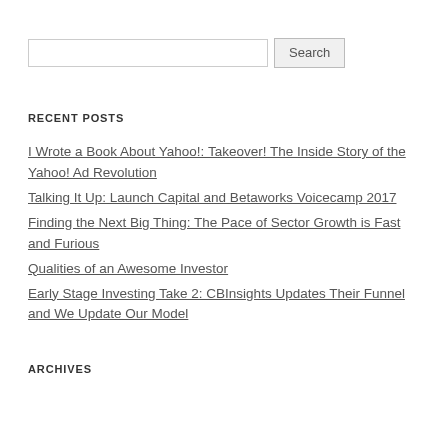Search input and button
RECENT POSTS
I Wrote a Book About Yahoo!: Takeover! The Inside Story of the Yahoo! Ad Revolution
Talking It Up: Launch Capital and Betaworks Voicecamp 2017
Finding the Next Big Thing: The Pace of Sector Growth is Fast and Furious
Qualities of an Awesome Investor
Early Stage Investing Take 2: CBInsights Updates Their Funnel and We Update Our Model
ARCHIVES